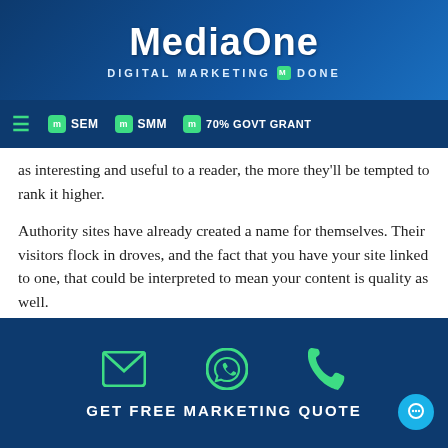MediaOne — DIGITAL MARKETING DONE
SEM  SMM  70% GOVT GRANT
as interesting and useful to a reader, the more they'll be tempted to rank it higher.
Authority sites have already created a name for themselves. Their visitors flock in droves, and the fact that you have your site linked to one, that could be interpreted to mean your content is quality as well.
Every time you make a backlink, search engines are right away alerted that your site is linked to another site. And if the site is positively ranked by Search Engines, your site earns a bonus point.
GET FREE MARKETING QUOTE